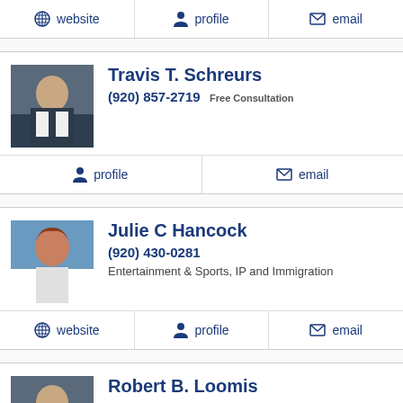[Figure (other): Action bar with website, profile, and email buttons (top of page, partial section)]
[Figure (photo): Headshot of Travis T. Schreurs, male attorney in suit]
Travis T. Schreurs
(920) 857-2719 Free Consultation
profile  |  email
[Figure (photo): Headshot of Julie C Hancock, female attorney with red hair]
Julie C Hancock
(920) 430-0281
Entertainment & Sports, IP and Immigration
website  |  profile  |  email
[Figure (photo): Headshot of Robert B. Loomis, male attorney]
Robert B. Loomis